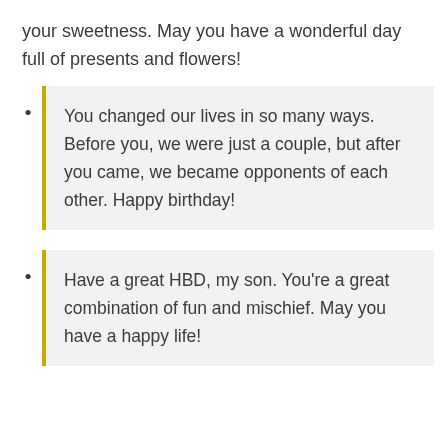your sweetness. May you have a wonderful day full of presents and flowers!
You changed our lives in so many ways. Before you, we were just a couple, but after you came, we became opponents of each other. Happy birthday!
Have a great HBD, my son. You're a great combination of fun and mischief. May you have a happy life!